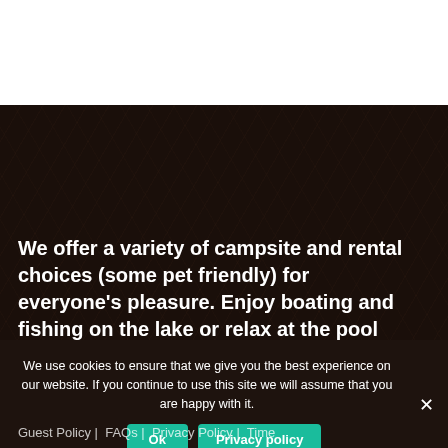[Figure (photo): Dark brown leather or bark textured background image filling the lower portion of the page]
We offer a variety of campsite and rental choices (some pet friendly) for everyone's pleasure. Enjoy boating and fishing on the lake or relax at the pool
We use cookies to ensure that we give you the best experience on our website. If you continue to use this site we will assume that you are happy with it.
Guest Policy | FAQs | Privacy Policy | Time